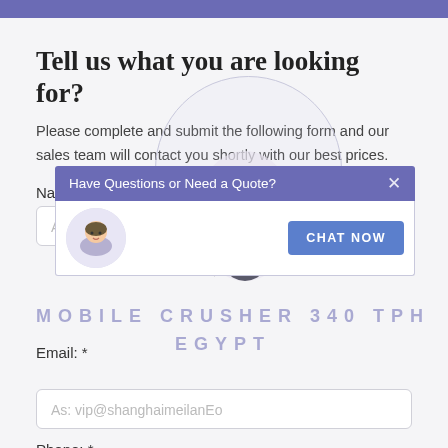Tell us what you are looking for?
Please complete and submit the following form and our sales team will contact you shortly with our best prices.
[Figure (screenshot): Chat widget overlay with header 'Have Questions or Need a Quote?', a close (X) button, an agent photo, and a 'CHAT NOW' button]
Name: *
As: Tom
Email: *
As: vip@shanghaimeilanEo
MOBILE CRUSHER 340 TPH
EGYPT
Phone: *
With Country Code